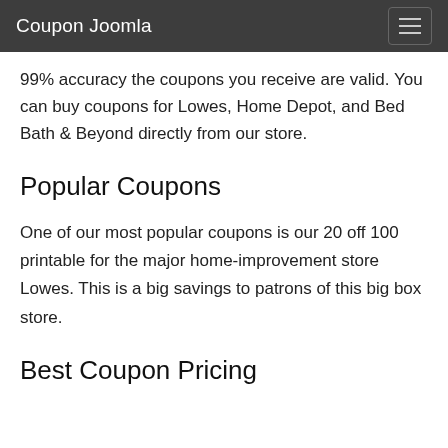Coupon Joomla
99% accuracy the coupons you receive are valid. You can buy coupons for Lowes, Home Depot, and Bed Bath & Beyond directly from our store.
Popular Coupons
One of our most popular coupons is our 20 off 100 printable for the major home-improvement store Lowes. This is a big savings to patrons of this big box store.
Best Coupon Pricing